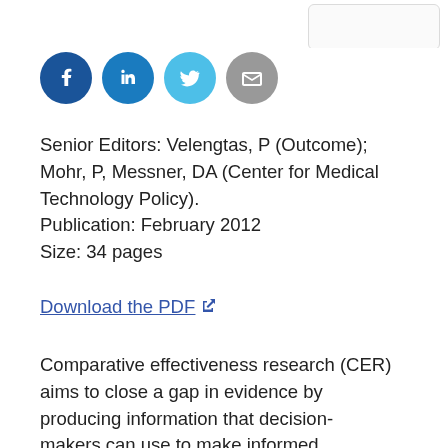[Figure (logo): Partial logo visible in top-right corner]
[Figure (infographic): Social media share icons: Facebook (dark blue circle), LinkedIn (medium blue circle), Twitter (light blue circle), Email (gray circle)]
Senior Editors: Velengtas, P (Outcome); Mohr, P, Messner, DA (Center for Medical Technology Policy).
Publication: February 2012
Size: 34 pages
Download the PDF ↗
Comparative effectiveness research (CER) aims to close a gap in evidence by producing information that decision-makers can use to make informed treatment and coverage decisions. CER